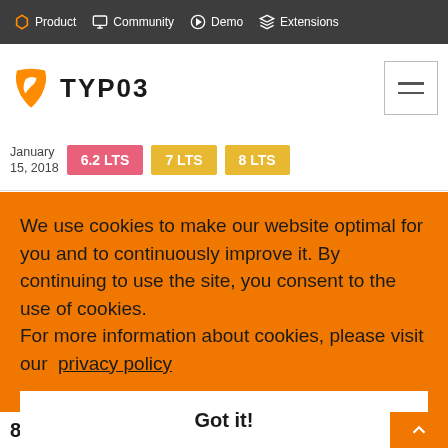Product  Community  Demo  Extensions
[Figure (logo): TYPO3 logo with orange bird icon and TYPO3 text, plus hamburger menu button]
January 15, 2018  6.2 LTS  7 LTS  8 LTS
We use cookies to make our website optimal for you and to continuously improve it. By continuing to use the site, you consent to the use of cookies.
For more information about cookies, please visit our  privacy policy
Got it!
8 7 5 /